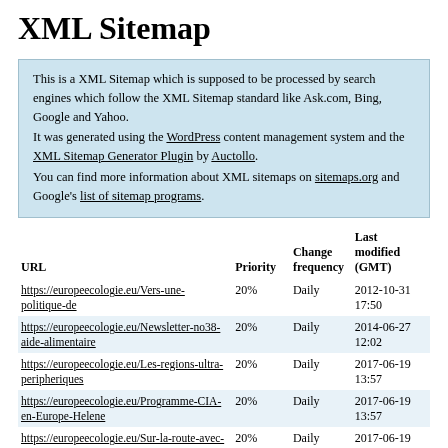XML Sitemap
This is a XML Sitemap which is supposed to be processed by search engines which follow the XML Sitemap standard like Ask.com, Bing, Google and Yahoo.
It was generated using the WordPress content management system and the XML Sitemap Generator Plugin by Auctollo.
You can find more information about XML sitemaps on sitemaps.org and Google's list of sitemap programs.
| URL | Priority | Change frequency | Last modified (GMT) |
| --- | --- | --- | --- |
| https://europeecologie.eu/Vers-une-politique-de | 20% | Daily | 2012-10-31 17:50 |
| https://europeecologie.eu/Newsletter-no38-aide-alimentaire | 20% | Daily | 2014-06-27 12:02 |
| https://europeecologie.eu/Les-regions-ultra-peripheriques | 20% | Daily | 2017-06-19 13:57 |
| https://europeecologie.eu/Programme-CIA-en-Europe-Helene | 20% | Daily | 2017-06-19 13:57 |
| https://europeecologie.eu/Sur-la-route-avec-les-paysans-sans | 20% | Daily | 2017-06-19 09:38 |
| https://europeecologie.eu/Iran-les-laureats-du-prix-Sakharov | 20% | Daily | 2017-06-19 09:38 |
| https://europeecologie.eu/Iran-UE-Les- | 20% | Daily | 2012-11-05 |